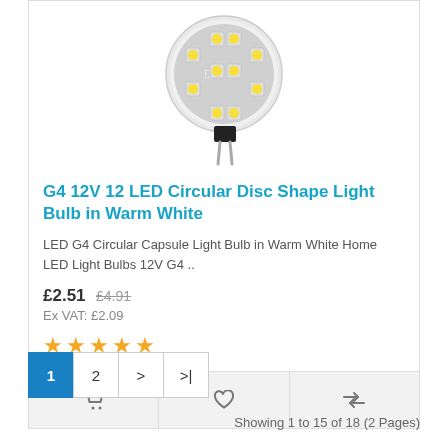[Figure (photo): G4 12V 12 LED Circular Disc Shape LED bulb product image showing round disc with yellow LED chips and two metal pins]
G4 12V 12 LED Circular Disc Shape Light Bulb in Warm White
LED G4 Circular Capsule Light Bulb in Warm White Home LED Light Bulbs 12V G4 ..
£2.51  £4.91
Ex VAT: £2.09
[Figure (other): 5 gold star rating]
Cart icon | Heart/wishlist icon | Compare icon
Pagination: 1  2  >  >|
Showing 1 to 15 of 18 (2 Pages)